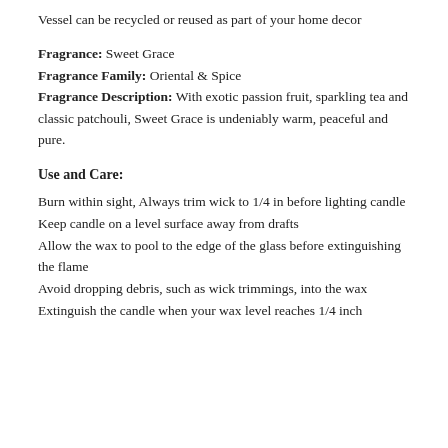Vessel can be recycled or reused as part of your home decor
Fragrance: Sweet Grace
Fragrance Family: Oriental & Spice
Fragrance Description: With exotic passion fruit, sparkling tea and classic patchouli, Sweet Grace is undeniably warm, peaceful and pure.
Use and Care:
Burn within sight, Always trim wick to 1/4 in before lighting candle
Keep candle on a level surface away from drafts
Allow the wax to pool to the edge of the glass before extinguishing the flame
Avoid dropping debris, such as wick trimmings, into the wax
Extinguish the candle when your wax level reaches 1/4 inch